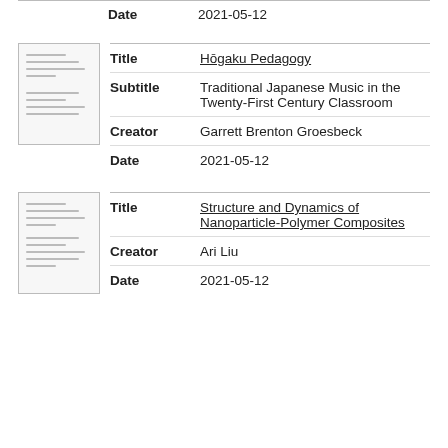| Field | Value |
| --- | --- |
| Date | 2021-05-12 |
[Figure (illustration): Thumbnail image of a document page with horizontal lines]
| Field | Value |
| --- | --- |
| Title | Hōgaku Pedagogy |
| Subtitle | Traditional Japanese Music in the Twenty-First Century Classroom |
| Creator | Garrett Brenton Groesbeck |
| Date | 2021-05-12 |
[Figure (illustration): Thumbnail image of a document page with horizontal lines]
| Field | Value |
| --- | --- |
| Title | Structure and Dynamics of Nanoparticle-Polymer Composites |
| Creator | Ari Liu |
| Date | 2021-05-12 |